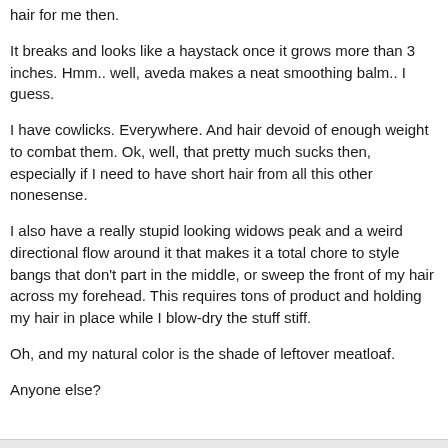hair for me then.
It breaks and looks like a haystack once it grows more than 3 inches. Hmm.. well, aveda makes a neat smoothing balm.. I guess.
I have cowlicks. Everywhere. And hair devoid of enough weight to combat them. Ok, well, that pretty much sucks then, especially if I need to have short hair from all this other nonesense.
I also have a really stupid looking widows peak and a weird directional flow around it that makes it a total chore to style bangs that don't part in the middle, or sweep the front of my hair across my forehead. This requires tons of product and holding my hair in place while I blow-dry the stuff stiff.
Oh, and my natural color is the shade of leftover meatloaf.
Anyone else?